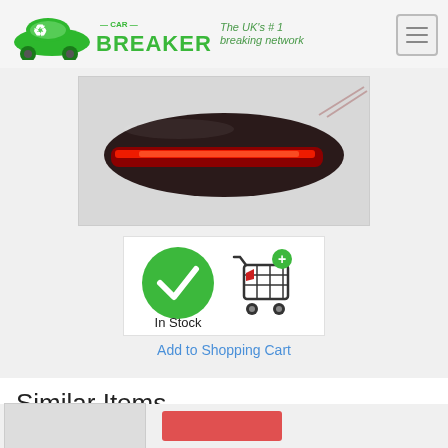[Figure (logo): Car Breaker logo with green car and recycling symbol, text 'CAR BREAKER' and tagline 'The UK's #1 breaking network']
[Figure (photo): LED third brake light / high mount stop light with red LEDs illuminated, black housing, wires attached]
[Figure (infographic): In Stock badge with green checkmark circle and shopping cart icon]
Add to Shopping Cart
Similar Items
[Figure (photo): Partial view of similar item thumbnails at bottom of page]